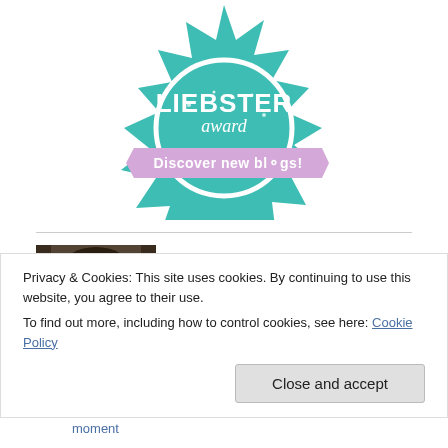[Figure (illustration): Liebster Award badge — teal starburst/seal with 'LIEBSTER award' text and a pink ribbon reading 'Discover new blogs!']
[Figure (photo): Black and white / sepia portrait photo of a man with dark hair resting his chin on his hand, against a brick wall background.]
Privacy & Cookies: This site uses cookies. By continuing to use this website, you agree to their use.
To find out more, including how to control cookies, see here: Cookie Policy
Close and accept
It's all in the moment